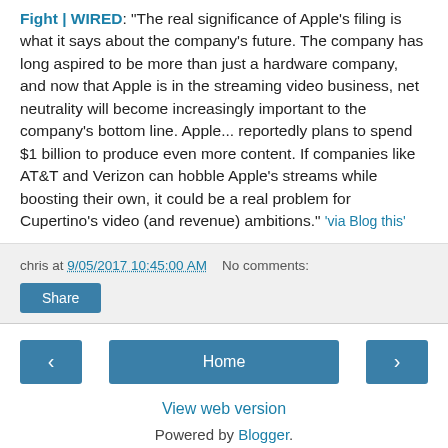Fight | WIRED: "The real significance of Apple's filing is what it says about the company's future. The company has long aspired to be more than just a hardware company, and now that Apple is in the streaming video business, net neutrality will become increasingly important to the company's bottom line. Apple... reportedly plans to spend $1 billion to produce even more content. If companies like AT&T and Verizon can hobble Apple's streams while boosting their own, it could be a real problem for Cupertino's video (and revenue) ambitions." 'via Blog this'
chris at 9/05/2017 10:45:00 AM   No comments:
Share
Home
View web version
Powered by Blogger.